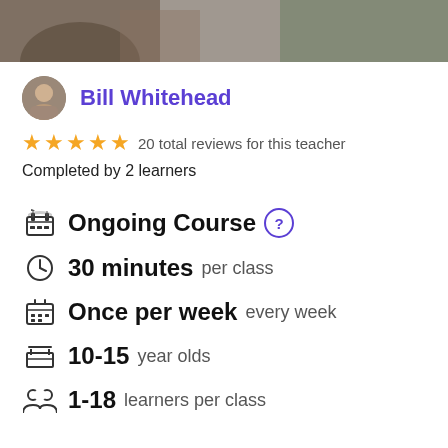[Figure (photo): Photo strip at top showing partial image of a person]
Bill Whitehead
20 total reviews for this teacher
Completed by 2 learners
Ongoing Course
30 minutes per class
Once per week every week
10-15 year olds
1-18 learners per class